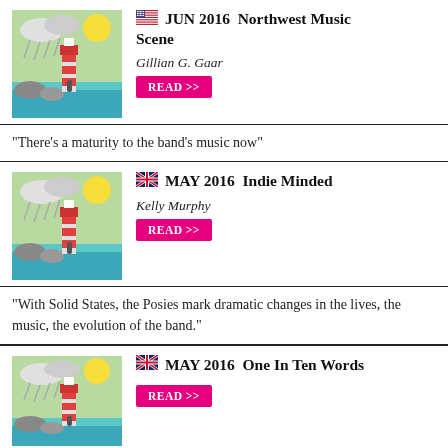[Figure (other): Thumbnail image of lighthouse/coastal artwork for JUN 2016 entry]
🇺🇸 JUN 2016  Northwest Music Scene
Gillian G. Gaar
READ >>
"There's a maturity to the band's music now"
[Figure (other): Thumbnail image of lighthouse/coastal artwork for MAY 2016 Indie Minded entry]
🇬🇧 MAY 2016  Indie Minded
Kelly Murphy
READ >>
"With Solid States, the Posies mark dramatic changes in the lives, the music, the evolution of the band."
[Figure (other): Thumbnail image of lighthouse/coastal artwork for MAY 2016 One In Ten Words entry]
🇬🇧 MAY 2016  One In Ten Words
READ >>